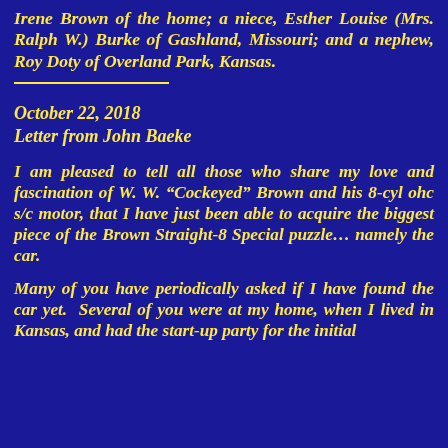Irene Brown of the home; a niece, Esther Louise (Mrs. Ralph W.) Burke of Gashland, Missouri; and a nephew, Roy Doty of Overland Park, Kansas.
October 22, 2018
Letter from John Baeke
I am pleased to tell all those who share my love and fascination of W. W. “Cockeyed” Brown and his 8-cyl ohc s/c motor, that I have just been able to acquire the biggest piece of the Brown Straight-8 Special puzzle… namely the car.
Many of you have periodically asked if I have found the car yet.  Several of you were at my home, when I lived in Kansas, and had the start-up party for the initial